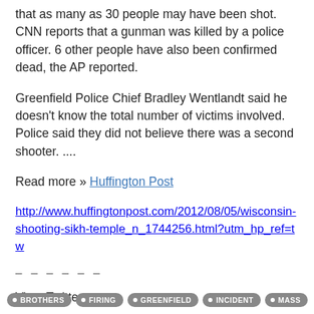that as many as 30 people may have been shot. CNN reports that a gunman was killed by a police officer. 6 other people have also been confirmed dead, the AP reported.
Greenfield Police Chief Bradley Wentlandt said he doesn't know the total number of victims involved. Police said they did not believe there was a second shooter. ....
Read more » Huffington Post
http://www.huffingtonpost.com/2012/08/05/wisconsin-shooting-sikh-temple_n_1744256.html?utm_hp_ref=tw
– – – – – –
Via – Twitter
BROTHERS
FIRING
GREENFIELD
INCIDENT
MASS